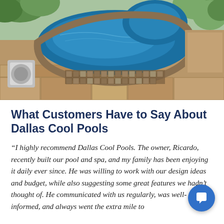[Figure (photo): Aerial/overhead view of a luxury swimming pool and spa with blue water, stone tile surround, flagstone patio, and decorative water feature. Outdoor residential pool area with lush landscaping.]
What Customers Have to Say About Dallas Cool Pools
“I highly recommend Dallas Cool Pools. The owner, Ricardo, recently built our pool and spa, and my family has been enjoying it daily ever since. He was willing to work with our design ideas and budget, while also suggesting some great features we hadn’t thought of. He communicated with us regularly, was well-informed, and always went the extra mile to